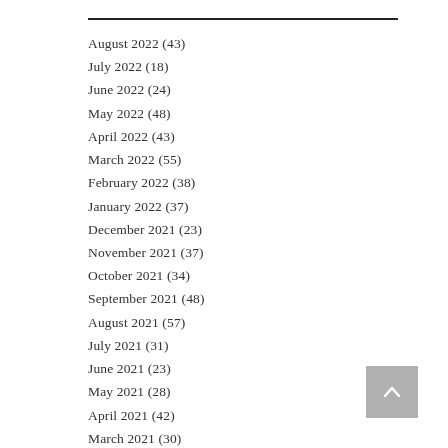August 2022 (43)
July 2022 (18)
June 2022 (24)
May 2022 (48)
April 2022 (43)
March 2022 (55)
February 2022 (38)
January 2022 (37)
December 2021 (23)
November 2021 (37)
October 2021 (34)
September 2021 (48)
August 2021 (57)
July 2021 (31)
June 2021 (23)
May 2021 (28)
April 2021 (42)
March 2021 (30)
February 2021 (43)
January 2021 (12)
December 2020 (31)
November 2020 (26)